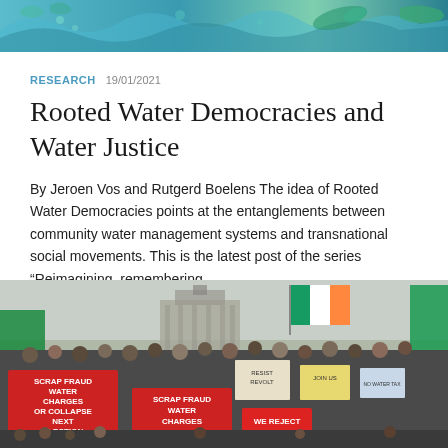[Figure (illustration): Colorful abstract banner image with water/nature theme in teal and green tones]
RESEARCH 19/01/2021
Rooted Water Democracies and Water Justice
By Jeroen Vos and Rutgerd Boelens The idea of Rooted Water Democracies points at the entanglements between community water management systems and transnational social movements. This is the latest post of the series “Reimagining, remembering,...
[Figure (photo): Street protest photo showing crowds carrying signs including 'SCRAP FRAUD WATER CHARGES OR COLLAPSE NEXT ELECTION' and 'SCRAP FRAUD WATER CHARGES', 'WE REJECT', with Irish flags and banners visible]